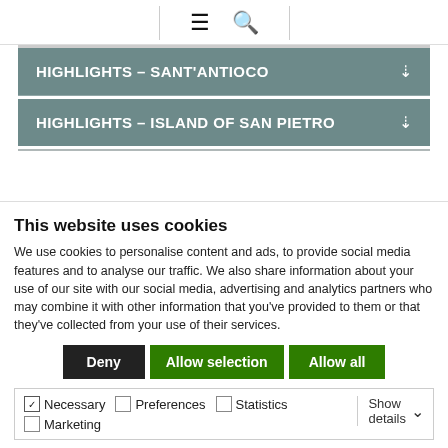≡ 🔍 (navigation bar with menu and search icons)
HIGHLIGHTS – SANT'ANTIOCO
HIGHLIGHTS – ISLAND OF SAN PIETRO
This website uses cookies
We use cookies to personalise content and ads, to provide social media features and to analyse our traffic. We also share information about your use of our site with our social media, advertising and analytics partners who may combine it with other information that you've provided to them or that they've collected from your use of their services.
Deny | Allow selection | Allow all
Necessary  Preferences  Statistics  Marketing  Show details